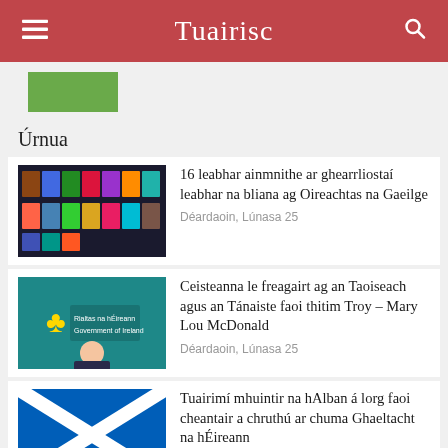Tuairisc
Úrnua
[Figure (photo): Grid of book covers on a dark background]
16 leabhar ainmnithe ar ghearrliostaí leabhar na bliana ag Oireachtas na Gaeilge
Déardaoin, Lúnasa 25
[Figure (photo): Man at Government of Ireland podium]
Ceisteanna le freagairt ag an Taoiseach agus an Tánaiste faoi thitim Troy – Mary Lou McDonald
Déardaoin, Lúnasa 25
[Figure (photo): Scottish Saltire flag waving against blue sky]
Tuairimí mhuintir na hAlban á lorg faoi cheantair a chruthú ar chuma Ghaeltacht na hÉireann
Déardaoin, Lúnasa 25
[Figure (photo): Abstract purple/dark scene]
Dhúisigh mé ar maidin agus bhí mé